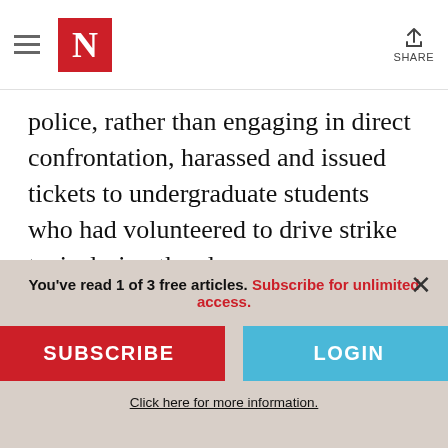N (The Nation logo) | SHARE
police, rather than engaging in direct confrontation, harassed and issued tickets to undergraduate students who had volunteered to drive strike taxis during the closure as an informal alternative to the campus bus services. It should not be overlooked that these students belong to a UCSC organization called the Snail Movement, a group of
You've read 1 of 3 free articles. Subscribe for unlimited access.
SUBSCRIBE
LOGIN
Click here for more information.